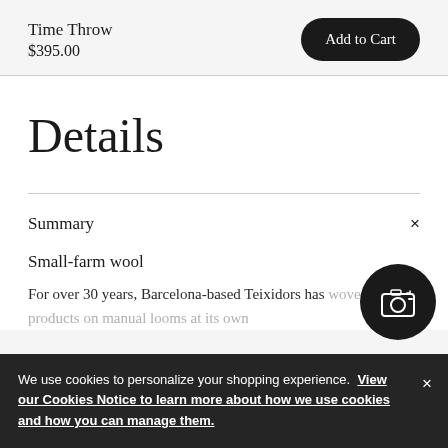Time Throw
$395.00
Details
Summary
Small-farm wool
For over 30 years, Barcelona-based Teixidors has woven products on manual looms at its own workshop, employing people with disabilities. The merino wool it uses for the reversible Time Throw (2019) is sourced from
We use cookies to personalize your shopping experience. View our Cookies Notice to learn more about how we use cookies and how you can manage them.